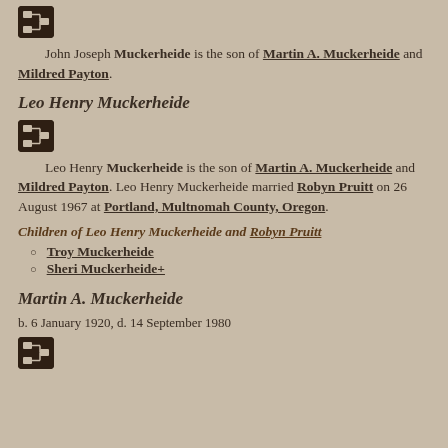[Figure (other): Family tree / pedigree icon button (dark brown square with hierarchy icon)]
John Joseph Muckerheide is the son of Martin A. Muckerheide and Mildred Payton.
Leo Henry Muckerheide
[Figure (other): Family tree / pedigree icon button (dark brown square with hierarchy icon)]
Leo Henry Muckerheide is the son of Martin A. Muckerheide and Mildred Payton. Leo Henry Muckerheide married Robyn Pruitt on 26 August 1967 at Portland, Multnomah County, Oregon.
Children of Leo Henry Muckerheide and Robyn Pruitt
Troy Muckerheide
Sheri Muckerheide+
Martin A. Muckerheide
b. 6 January 1920, d. 14 September 1980
[Figure (other): Family tree / pedigree icon button (dark brown square with hierarchy icon)]